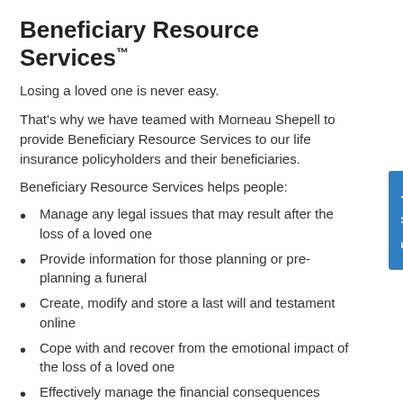Beneficiary Resource Services™
Losing a loved one is never easy.
That's why we have teamed with Morneau Shepell to provide Beneficiary Resource Services to our life insurance policyholders and their beneficiaries.
Beneficiary Resource Services helps people:
Manage any legal issues that may result after the loss of a loved one
Provide information for those planning or pre-planning a funeral
Create, modify and store a last will and testament online
Cope with and recover from the emotional impact of the loss of a loved one
Effectively manage the financial consequences